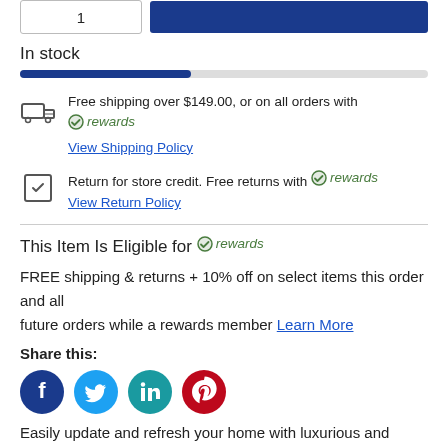In stock
Free shipping over $149.00, or on all orders with rewards
View Shipping Policy
Return for store credit. Free returns with rewards
View Return Policy
This Item Is Eligible for rewards
FREE shipping & returns + 10% off on select items this order and all future orders while a rewards member Learn More
Share this:
[Figure (infographic): Social sharing icons: Facebook (dark blue circle), Twitter (light blue circle), LinkedIn (teal circle), Pinterest (red circle)]
Easily update and refresh your home with luxurious and